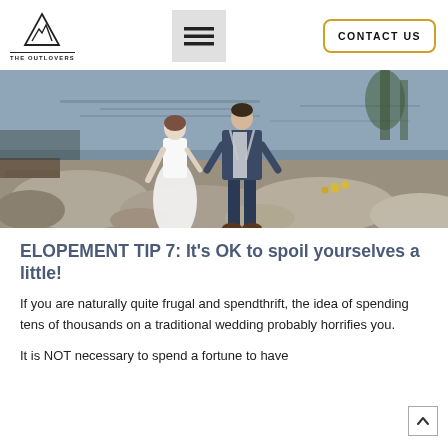THE OUTLOVERS — CONTACT US
[Figure (photo): A couple standing on rocks by a river or lake. The woman is wearing a white dress and the man is wearing a dark suit. Natural outdoor setting with rocky terrain and water in the background.]
ELOPEMENT TIP 7: It's OK to spoil yourselves a little!
If you are naturally quite frugal and spendthrift, the idea of spending tens of thousands on a traditional wedding probably horrifies you.
It is NOT necessary to spend a fortune to have